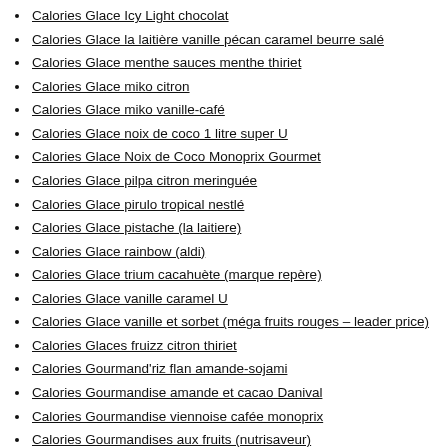Calories Glace Icy Light chocolat
Calories Glace la laitière vanille pécan caramel beurre salé
Calories Glace menthe sauces menthe thiriet
Calories Glace miko citron
Calories Glace miko vanille-café
Calories Glace noix de coco 1 litre super U
Calories Glace Noix de Coco Monoprix Gourmet
Calories Glace pilpa citron meringuée
Calories Glace pirulo tropical nestlé
Calories Glace pistache (la laitiere)
Calories Glace rainbow (aldi)
Calories Glace trium cacahuète (marque repère)
Calories Glace vanille caramel U
Calories Glace vanille et sorbet (méga fruits rouges – leader price)
Calories Glaces fruizz citron thiriet
Calories Gourmand'riz flan amande-sojami
Calories Gourmandise amande et cacao Danival
Calories Gourmandise viennoise cafée monoprix
Calories Gourmandises aux fruits (nutrisaveur)
Calories Gourmandises viennoises chocolat
Calories Goûter lait choco p'tit déli
Calories Goûtine (bio sans gluten)